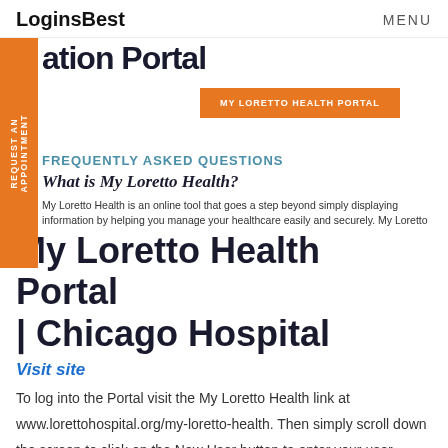LoginsBest  MENU
ation Portal
MY LORETTO HEALTH PORTAL
FREQUENTLY ASKED QUESTIONS
What is My Loretto Health?
My Loretto Health is an online tool that goes a step beyond simply displaying information by helping you manage your healthcare easily and securely. My Loretto Health gives patients instant access to
My Loretto Health Portal | Chicago Hospital
Visit site
To log into the Portal visit the My Loretto Health link at www.lorettohospital.org/my-loretto-health. Then simply scroll down the screen to click on the New User button to enter your user